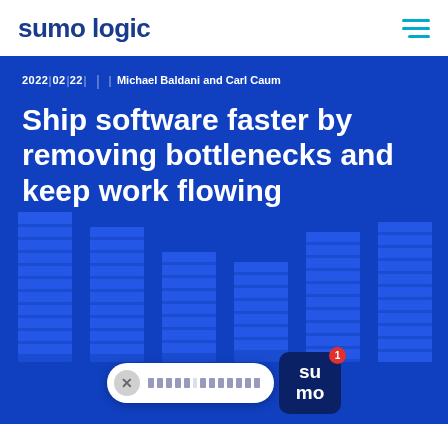sumo logic
2022▌02▌22▌  |  ▌ Michael Baldani and Carl Caum
Ship software faster by removing bottlenecks and keep work flowing
[Figure (illustration): Decorative equalizer bar chart background pattern in lighter blue on blue hero section]
[Figure (other): Chat widget overlay at bottom of page with close button, redacted text placeholder, and Sumo Logic badge icon with notification badge showing 1]